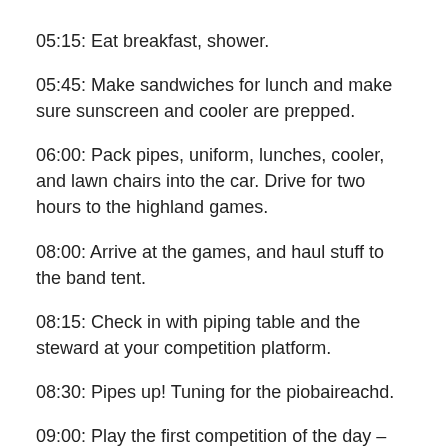05:15: Eat breakfast, shower.
05:45: Make sandwiches for lunch and make sure sunscreen and cooler are prepped.
06:00: Pack pipes, uniform, lunches, cooler, and lawn chairs into the car. Drive for two hours to the highland games.
08:00: Arrive at the games, and haul stuff to the band tent.
08:15: Check in with piping table and the steward at your competition platform.
08:30: Pipes up! Tuning for the piobaireachd.
09:00: Play the first competition of the day – solo piobaireachd. Brush out the drones and make sure the